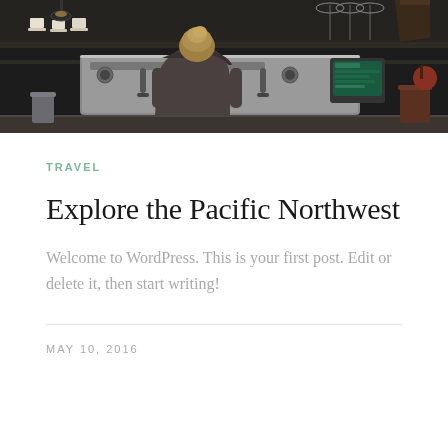[Figure (photo): Interior of a coffee bar with a barista (seen from behind, blonde hair) working at a large professional espresso machine. Dark shelving with cups, wine glasses, and various items visible in the background. A POS/tablet screen visible on the right side of the espresso machine.]
TRAVEL
Explore the Pacific Northwest
Welcome to WordPress. This is your first post. Edit or delete it, then start writing!
MAY 10, 2016